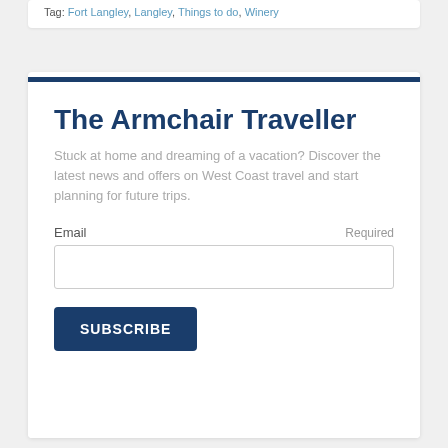Tag: Fort Langley, Langley, Things to do, Winery
The Armchair Traveller
Stuck at home and dreaming of a vacation? Discover the latest news and offers on West Coast travel and start planning for future trips.
Email   Required
SUBSCRIBE